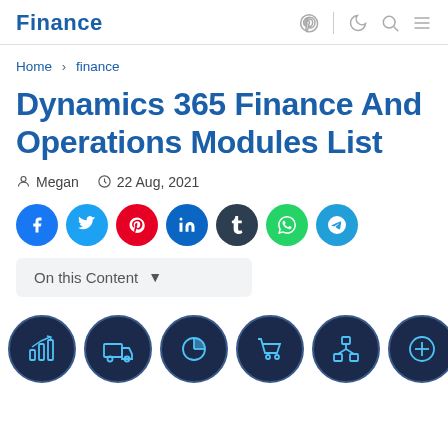Finance
Home › finance
Dynamics 365 Finance And Operations Modules List
Megan   22 Aug, 2021
[Figure (other): Social share buttons: Facebook, Twitter, Pinterest, LinkedIn, Tumblr, WhatsApp, Telegram]
On this Content
[Figure (other): Row of 6 dark circular module icons with light blue outlines representing: analytics/finance, delivery/truck, pie chart/clock, shopping cart, network/hierarchy, and plus/add]